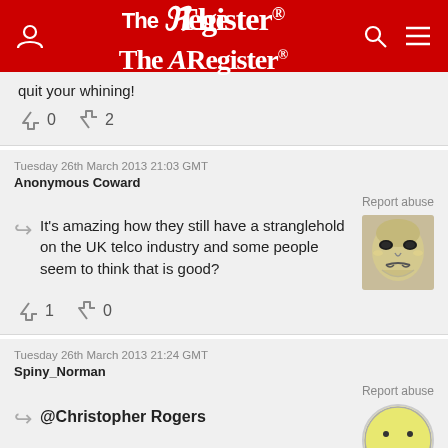The Register
quit your whining!
↑0  ↓2
Tuesday 26th March 2013 21:03 GMT
Anonymous Coward
Report abuse
It's amazing how they still have a stranglehold on the UK telco industry and some people seem to think that is good?
↑1  ↓0
Tuesday 26th March 2013 21:24 GMT
Spiny_Norman
Report abuse
@Christopher Rogers